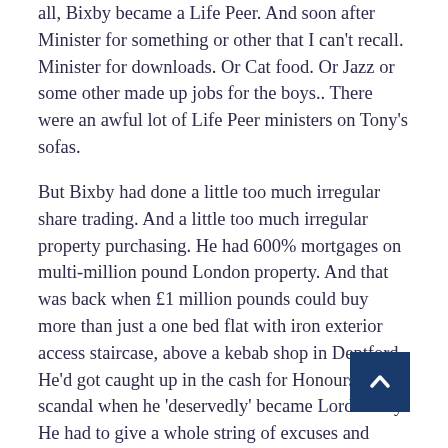all, Bixby became a Life Peer. And soon after Minister for something or other that I can't recall. Minister for downloads. Or Cat food. Or Jazz or some other made up jobs for the boys.. There were an awful lot of Life Peer ministers on Tony's sofas.
But Bixby had done a little too much irregular share trading. And a little too much irregular property purchasing. He had 600% mortgages on multi-million pound London property. And that was back when £1 million pounds could buy more than just a one bed flat with iron exterior access staircase, above a kebab shop in Deptford. He'd got caught up in the cash for Honours scandal when he 'deservedly' became Lord Bixby. He had to give a whole string of excuses and reasons as to why he lent labour the money, and how the day after the cheque cleared he was made a Life Peer. They weren't very convincing. Tough times for Lord Marmon.
He'd got away with it. He was now Elite, after all, so of course he would. He was lucky the Blair government had had the